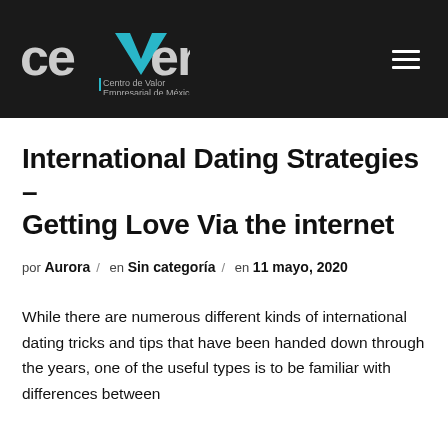cevem – Centro de Valor Empresarial de México
International Dating Strategies – Getting Love Via the internet
por Aurora / en Sin categoría / en 11 mayo, 2020
While there are numerous different kinds of international dating tricks and tips that have been handed down through the years, one of the useful types is to be familiar with differences between